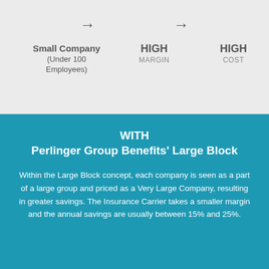[Figure (infographic): Top gray section showing flow diagram with arrows pointing right, with labels: Small Company (Under 100 Employees) → HIGH MARGIN → HIGH COST]
WITH
Perlinger Group Benefits' Large Block
Within the Large Block concept, each company is seen as a part of a large group and priced as a Very Large Company, resulting in greater savings. The Insurance Carrier takes a smaller margin and the annual savings are usually between 15% and 25%.